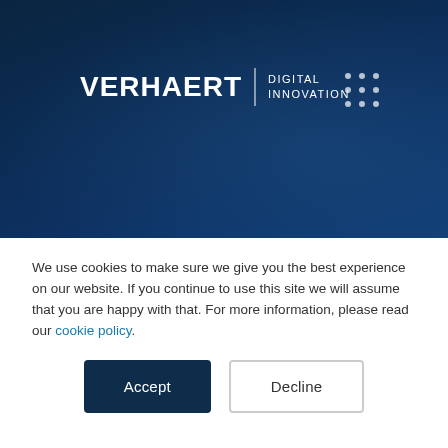[Figure (screenshot): Verhaert Digital Innovation website screenshot with dark navy blue background]
Cross-Industry and Cross-Functional Business Apps
We use cookies to make sure we give you the best experience on our website. If you continue to use this site we will assume that you are happy with that. For more information, please read our cookie policy.
Accept | Decline